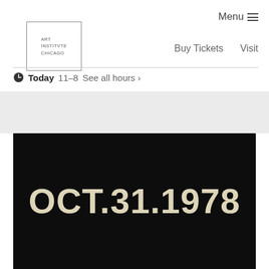[Figure (logo): Art Institute Chicago logo — rectangular border with text ART INSTITVTE CHICAGO inside]
Menu  Buy Tickets  Visit
Today  11–8  See all hours ›
[Figure (photo): Dark/black background image with large cream-colored bold text reading OCT.31.1978]